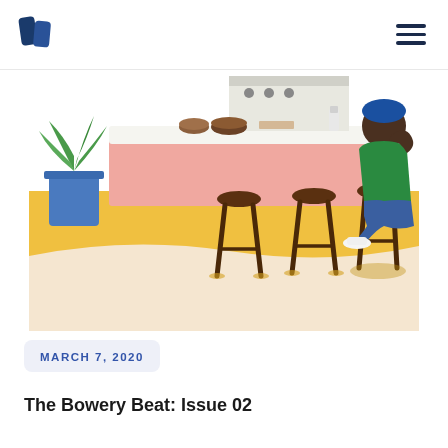Bowery Capital logo and navigation
[Figure (illustration): Illustration of a person sitting on a bar stool at a kitchen counter. The kitchen has a pink counter with bowls and a cutting board, bar stools with dark wooden legs, a yellow/orange floor, and a potted plant on the left. The person is wearing a green top, blue pants, and white sneakers.]
MARCH 7, 2020
The Bowery Beat: Issue 02